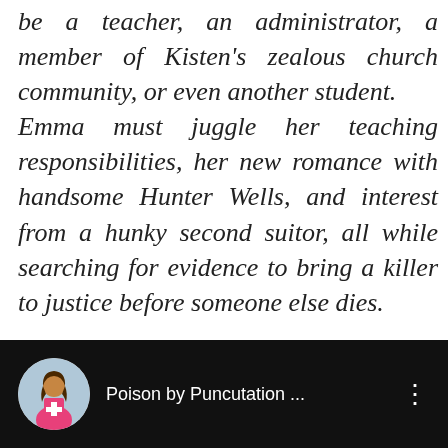be a teacher, an administrator, a member of Kisten's zealous church community, or even another student. Emma must juggle her teaching responsibilities, her new romance with handsome Hunter Wells, and interest from a hunky second suitor, all while searching for evidence to bring a killer to justice before someone else dies.
[Figure (screenshot): A media player bar with a circular avatar showing a female figure in a pink dress, label reading 'Poison by Puncutation ...' and a vertical dots menu icon, on a black background.]